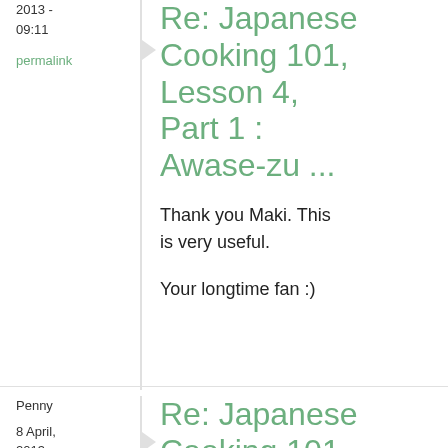2013 - 09:11
permalink
Re: Japanese Cooking 101, Lesson 4, Part 1 : Awase-zu ...
Thank you Maki. This is very useful.
Your longtime fan :)
Penny
8 April, 2013 - 01:56
permalink
Re: Japanese Cooking 101, Cooking 101, Lesson 4, ...